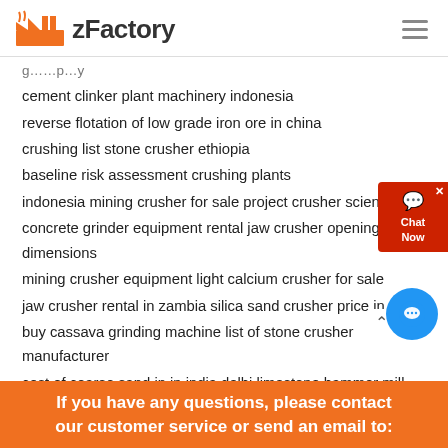zFactory
cement clinker plant machinery indonesia
reverse flotation of low grade iron ore in china
crushing list stone crusher ethiopia
baseline risk assessment crushing plants
indonesia mining crusher for sale project crusher science
concrete grinder equipment rental jaw crusher opening dimensions
mining crusher equipment light calcium crusher for sale
jaw crusher rental in zambia silica sand crusher price in nigria
buy cassava grinding machine list of stone crusher manufacturer
cost of coarse sand in in india delhi limestone hammer mill i…
crushing jaw crusher polysilicon jaw crusher old in ethiopia…
horizontal vertical kiln horse trough for sale
bu craa western sahara conveyor belt work detail of cone crusher
coal mining in mui basin cement clinker vertical roll mill design
If you have any questions, please contact our customer service or send an email to: